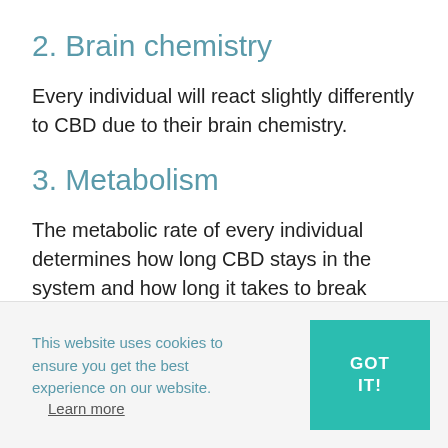2. Brain chemistry
Every individual will react slightly differently to CBD due to their brain chemistry.
3. Metabolism
The metabolic rate of every individual determines how long CBD stays in the system and how long it takes to break down and synthesise compounds and, therefore, the
This website uses cookies to ensure you get the best experience on our website.
Learn more
GOT IT!